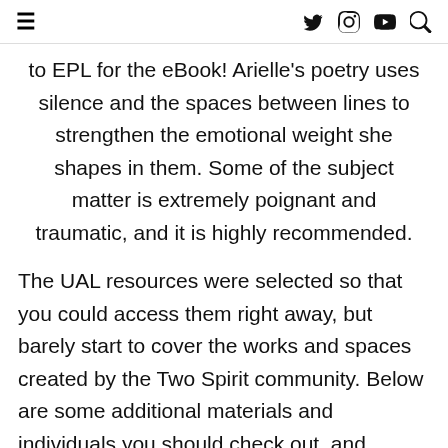≡  [twitter] [instagram] [youtube] [search]
to EPL for the eBook! Arielle's poetry uses silence and the spaces between lines to strengthen the emotional weight she shapes in them. Some of the subject matter is extremely poignant and traumatic, and it is highly recommended.
The UAL resources were selected so that you could access them right away, but barely start to cover the works and spaces created by the Two Spirit community. Below are some additional materials and individuals you should check out, and places for Two Spirit people